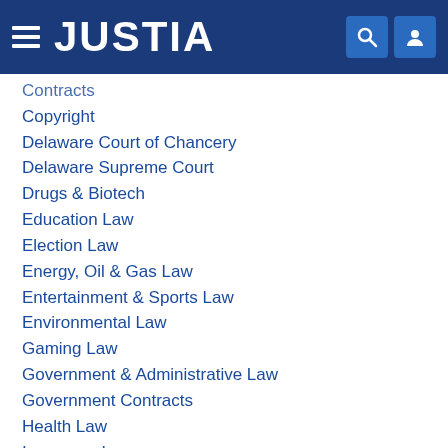JUSTIA
Contracts
Copyright
Delaware Court of Chancery
Delaware Supreme Court
Drugs & Biotech
Education Law
Election Law
Energy, Oil & Gas Law
Entertainment & Sports Law
Environmental Law
Gaming Law
Government & Administrative Law
Government Contracts
Health Law
Insurance Law
Intellectual Property
International Law
International Trade
Internet Law
Labor & Employment Law